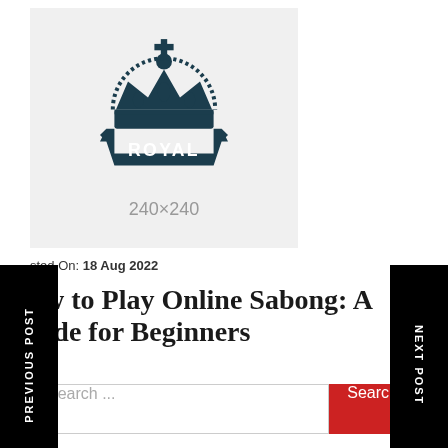[Figure (logo): Royal crown logo with 'ROYAL' text on a banner beneath the crown, dark teal/navy color on light gray background. Dimensions shown as 240x240.]
Posted On: 18 Aug 2022
How to Play Online Sabong: A Guide for Beginners
Search ...
Search